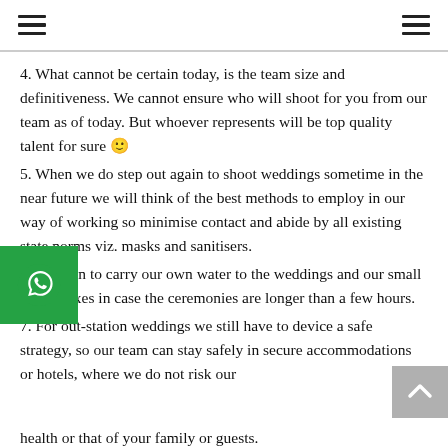[hamburger menu icons left and right]
4. What cannot be certain today, is the team size and definitiveness. We cannot ensure who will shoot for you from our team as of today. But whoever represents will be top quality talent for sure 🙂
5. When we do step out again to shoot weddings sometime in the near future we will think of the best methods to employ in our way of working so minimise contact and abide by all existing state norms viz. masks and sanitisers.
6. We plan to carry our own water to the weddings and our small lunch boxes in case the ceremonies are longer than a few hours.
7. For out-station weddings we still have to device a safe strategy, so our team can stay safely in secure accommodations or hotels, where we do not risk our health or that of your family or guests.